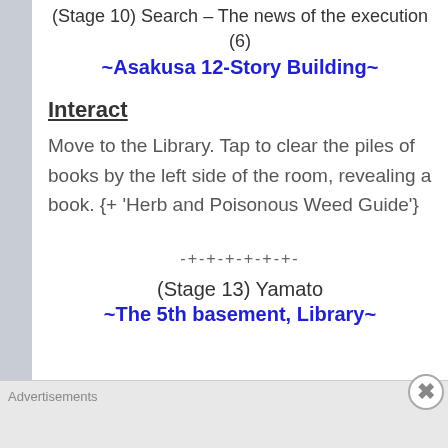(Stage 10) Search – The news of the execution (6)
~Asakusa 12-Story Building~
Interact
Move to the Library. Tap to clear the piles of books by the left side of the room, revealing a book. {+ 'Herb and Poisonous Weed Guide'}
-+-+-+-+-+-+-
(Stage 13) Yamato
~The 5th basement, Library~
Advertisements